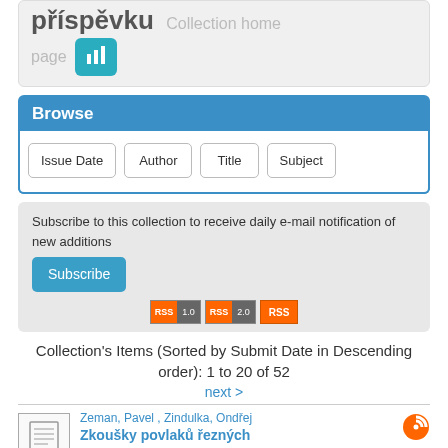příspěvku Collection home page
Browse
Issue Date | Author | Title | Subject
Subscribe to this collection to receive daily e-mail notification of new additions  Subscribe
Collection's Items (Sorted by Submit Date in Descending order): 1 to 20 of 52
next >
Zeman, Pavel , Zindulka, Ondřej
Zkoušky povlaků řezných